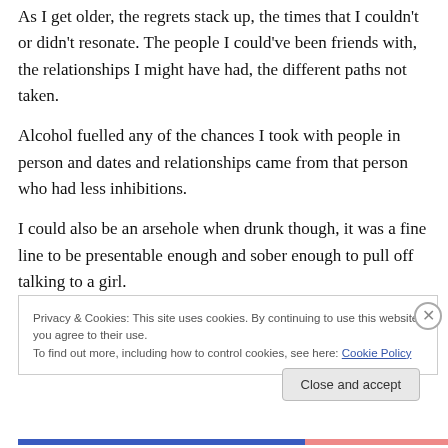As I get older, the regrets stack up, the times that I couldn't or didn't resonate. The people I could've been friends with, the relationships I might have had, the different paths not taken.
Alcohol fuelled any of the chances I took with people in person and dates and relationships came from that person who had less inhibitions.
I could also be an arsehole when drunk though, it was a fine line to be presentable enough and sober enough to pull off talking to a girl.
Privacy & Cookies: This site uses cookies. By continuing to use this website, you agree to their use.
To find out more, including how to control cookies, see here: Cookie Policy
Close and accept